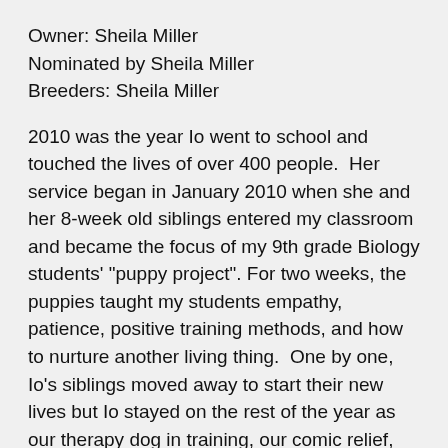Owner: Sheila Miller
Nominated by Sheila Miller
Breeders: Sheila Miller
2010 was the year Io went to school and touched the lives of over 400 people.  Her service began in January 2010 when she and her 8-week old siblings entered my classroom and became the focus of my 9th grade Biology students' "puppy project". For two weeks, the puppies taught my students empathy, patience, positive training methods, and how to nurture another living thing.  One by one, Io's siblings moved away to start their new lives but Io stayed on the rest of the year as our therapy dog in training, our comic relief, and our friend.